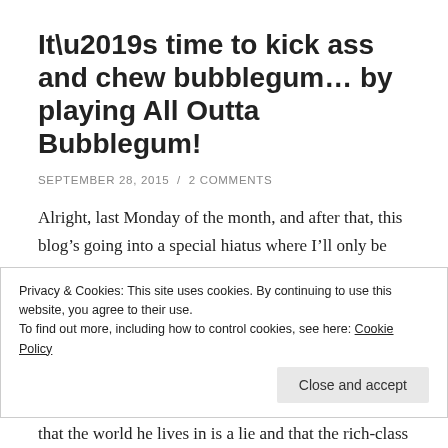It’s time to kick ass and chew bubblegum… by playing All Outta Bubblegum!
SEPTEMBER 28, 2015 / 2 COMMENTS
Alright, last Monday of the month, and after that, this blog’s going into a special hiatus where I’ll only be focusing on major sessions that I have planned. As such, we’re gonna do a breather game in the form of All Outta Bubblegum.
Privacy & Cookies: This site uses cookies. By continuing to use this website, you agree to their use.
To find out more, including how to control cookies, see here: Cookie Policy
Close and accept
that the world he lives in is a lie and that the rich-class